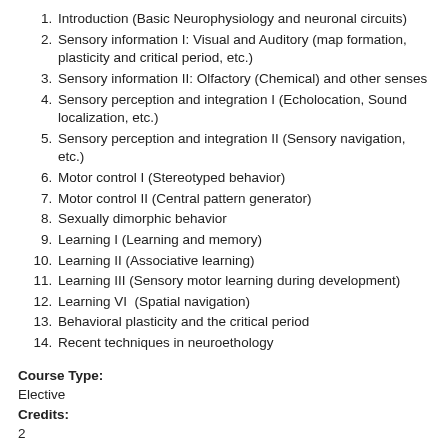1. Introduction (Basic Neurophysiology and neuronal circuits)
2. Sensory information I: Visual and Auditory (map formation, plasticity and critical period, etc.)
3. Sensory information II: Olfactory (Chemical) and other senses
4. Sensory perception and integration I (Echolocation, Sound localization, etc.)
5. Sensory perception and integration II (Sensory navigation, etc.)
6. Motor control I (Stereotyped behavior)
7. Motor control II (Central pattern generator)
8. Sexually dimorphic behavior
9. Learning I (Learning and memory)
10. Learning II (Associative learning)
11. Learning III (Sensory motor learning during development)
12. Learning VI  (Spatial navigation)
13. Behavioral plasticity and the critical period
14. Recent techniques in neuroethology
Course Type:
Elective
Credits:
2